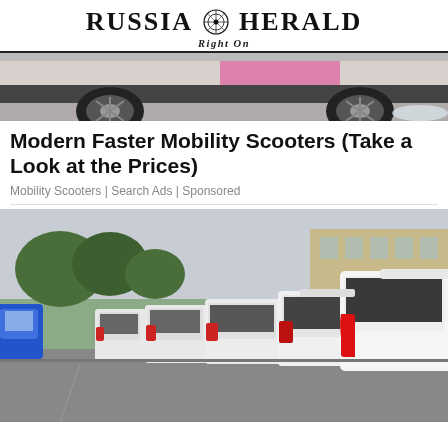RUSSIA HERALD — RIGHT ON
[Figure (photo): Partial view of a pink/colorful vehicle with large alloy wheels on a road, cropped at top]
Modern Faster Mobility Scooters (Take a Look at the Prices)
Mobility Scooters | Search Ads | Sponsored
[Figure (photo): Row of white SUV/cars parked in a lot, viewed from the rear, with one blue car visible on the left, trees and building in background]